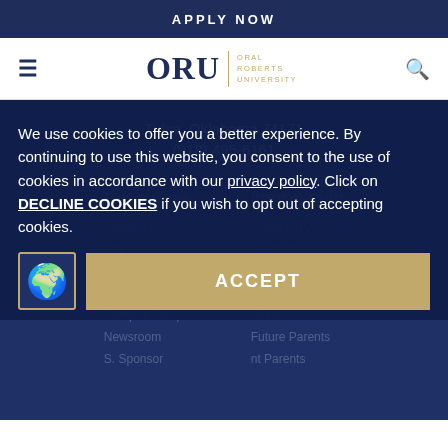APPLY NOW
[Figure (logo): ORU - Oral Roberts University logo with hamburger menu and search icon in navigation bar]
Tulsa, Oklahoma 74171
(918) 495-6161
Resources
Information
Careers/H.R.
About ORU
Title IX
Academics
Consumer Info
Admissions
Collect
Alumni
Campus Setup
Athletics
Newsroom
Future Parents
S. Sponsor
nt Parents
We use cookies to offer you a better experience. By continuing to use this website, you consent to the use of cookies in accordance with our privacy policy. Click on DECLINE COOKIES if you wish to opt out of accepting cookies.
ACCEPT